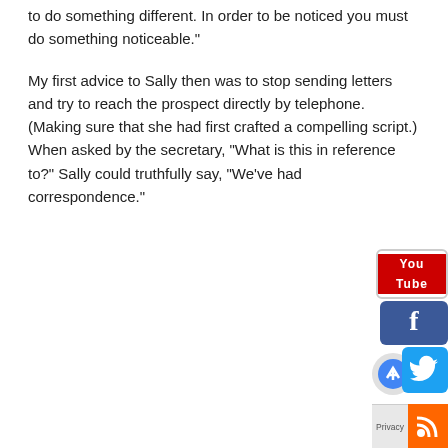There is no risk here. You have nothing to lose. It's time to do something different. In order to be noticed you must do something noticeable.
My first advice to Sally then was to stop sending letters and try to reach the prospect directly by telephone. (Making sure that she had first crafted a compelling script.) When asked by the secretary, “What is this in reference to?” Sally could truthfully say, “We’ve had correspondence.”
[Figure (other): Social media icons: YouTube, Facebook, Twitter (with a Google/search icon overlay), Privacy label, and RSS feed icon arranged vertically in the bottom-right corner.]